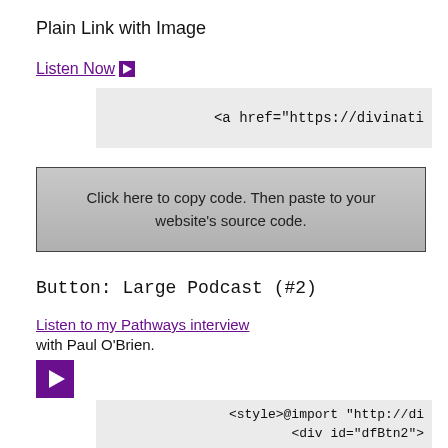Plain Link with Image
Listen Now ▶
<a href="https://divinati
Click here to copy code. Then paste to your website's source code.
Button: Large Podcast (#2)
Listen to my Pathways interview
with Paul O'Brien.
[Figure (other): Purple play button icon]
<style>@import "http://di
<div id="dfBtn2">